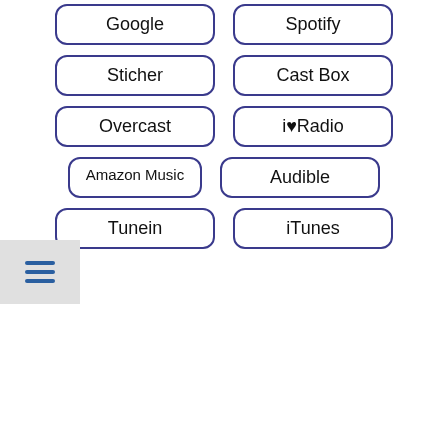Google
Spotify
Sticher
Cast Box
Overcast
i♥Radio
Amazon Music
Audible
Tunein
iTunes
Alexa can play our podcasts too. Try: Alexa, play the podcast Male Chastity Journal.
Privacy & Cookies: This site uses cookies. By continuing to use this website, you agree to their use.
To find out more, including how to control cookies, see here: Cookie Policy
Close and accept
S
G
Email Address